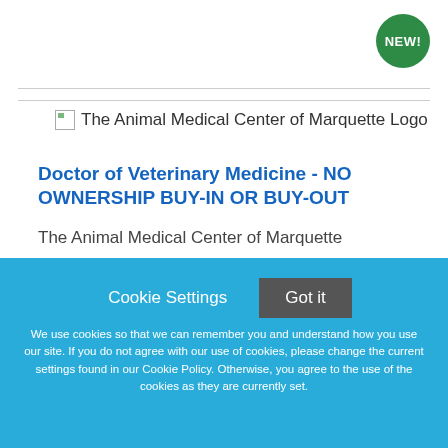[Figure (logo): The Animal Medical Center of Marquette Logo — broken image placeholder with logo text]
Doctor of Veterinary Medicine - NO OWNERSHIP BUY-IN OR BUY-OUT
The Animal Medical Center of Marquette
Cookie Settings   Got it

We use cookies so that we can remember you and understand how you use our site. If you do not agree with our use of cookies, please change the current settings found in our Cookie Policy. Otherwise, you agree to the use of the cookies as they are currently set.